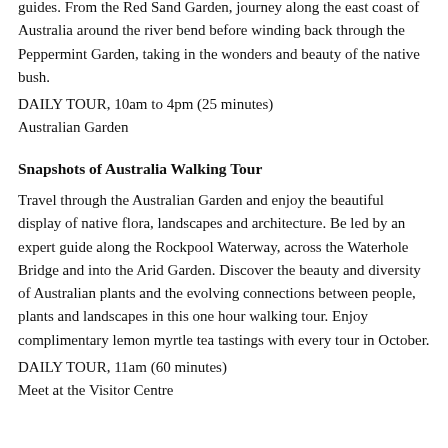guides. From the Red Sand Garden, journey along the east coast of Australia around the river bend before winding back through the Peppermint Garden, taking in the wonders and beauty of the native bush.
DAILY TOUR, 10am to 4pm (25 minutes)
Australian Garden
Snapshots of Australia Walking Tour
Travel through the Australian Garden and enjoy the beautiful display of native flora, landscapes and architecture. Be led by an expert guide along the Rockpool Waterway, across the Waterhole Bridge and into the Arid Garden. Discover the beauty and diversity of Australian plants and the evolving connections between people, plants and landscapes in this one hour walking tour. Enjoy complimentary lemon myrtle tea tastings with every tour in October.
DAILY TOUR, 11am (60 minutes)
Meet at the Visitor Centre